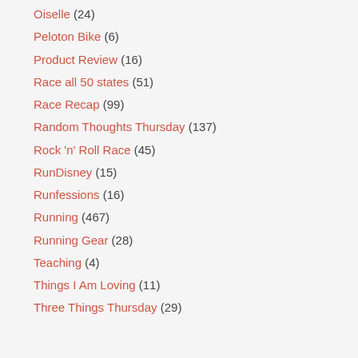Oiselle (24)
Peloton Bike (6)
Product Review (16)
Race all 50 states (51)
Race Recap (99)
Random Thoughts Thursday (137)
Rock 'n' Roll Race (45)
RunDisney (15)
Runfessions (16)
Running (467)
Running Gear (28)
Teaching (4)
Things I Am Loving (11)
Three Things Thursday (29)